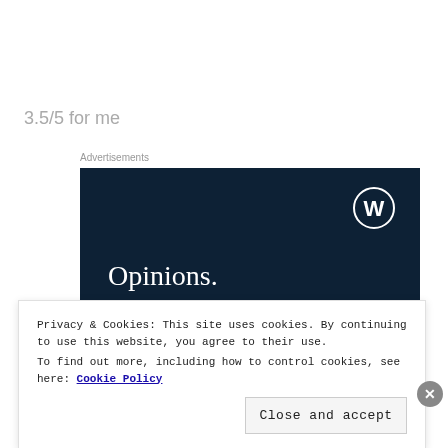3.5/5 for me
Advertisements
[Figure (illustration): WordPress advertisement banner with dark navy background, WordPress logo (W in circle) top right, serif text reading 'Opinions. We all have them!']
Privacy & Cookies: This site uses cookies. By continuing to use this website, you agree to their use.
To find out more, including how to control cookies, see here: Cookie Policy
Close and accept